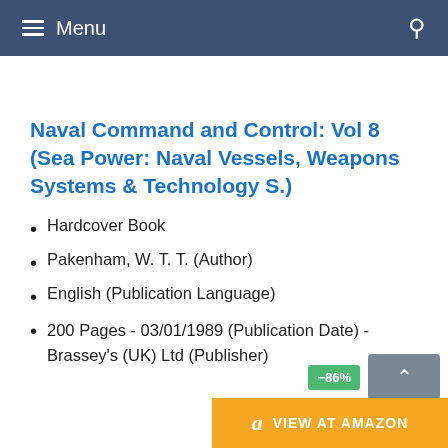Menu
Naval Command and Control: Vol 8 (Sea Power: Naval Vessels, Weapons Systems & Technology S.)
Hardcover Book
Pakenham, W. T. T. (Author)
English (Publication Language)
200 Pages - 03/01/1989 (Publication Date) - Brassey's (UK) Ltd (Publisher)